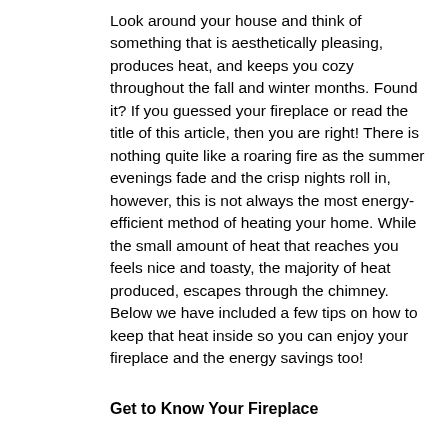Look around your house and think of something that is aesthetically pleasing, produces heat, and keeps you cozy throughout the fall and winter months. Found it? If you guessed your fireplace or read the title of this article, then you are right! There is nothing quite like a roaring fire as the summer evenings fade and the crisp nights roll in, however, this is not always the most energy-efficient method of heating your home. While the small amount of heat that reaches you feels nice and toasty, the majority of heat produced, escapes through the chimney. Below we have included a few tips on how to keep that heat inside so you can enjoy your fireplace and the energy savings too!
Get to Know Your Fireplace